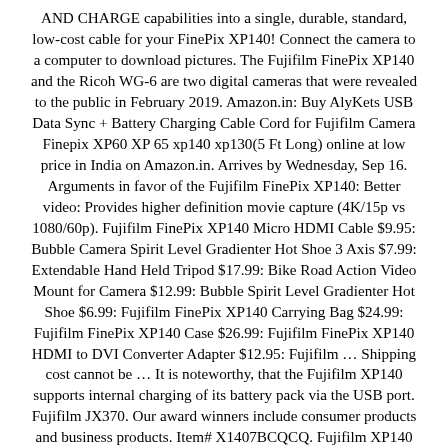AND CHARGE capabilities into a single, durable, standard, low-cost cable for your FinePix XP140! Connect the camera to a computer to download pictures. The Fujifilm FinePix XP140 and the Ricoh WG-6 are two digital cameras that were revealed to the public in February 2019. Amazon.in: Buy AlyKets USB Data Sync + Battery Charging Cable Cord for Fujifilm Camera Finepix XP60 XP 65 xp140 xp130(5 Ft Long) online at low price in India on Amazon.in. Arrives by Wednesday, Sep 16. Arguments in favor of the Fujifilm FinePix XP140: Better video: Provides higher definition movie capture (4K/15p vs 1080/60p). Fujifilm FinePix XP140 Micro HDMI Cable $9.95: Bubble Camera Spirit Level Gradienter Hot Shoe 3 Axis $7.99: Extendable Hand Held Tripod $17.99: Bike Road Action Video Mount for Camera $12.99: Bubble Spirit Level Gradienter Hot Shoe $6.99: Fujifilm FinePix XP140 Carrying Bag $24.99: Fujifilm FinePix XP140 Case $26.99: Fujifilm FinePix XP140 HDMI to DVI Converter Adapter $12.95: Fujifilm … Shipping cost cannot be … It is noteworthy, that the Fujifilm XP140 supports internal charging of its battery pack via the USB port. Fujifilm JX370. Our award winners include consumer products and business products. Item# X1407BCQCQ. Fujifilm XP140 Wrap Up. Only 2 left. Click & Collect. … 1M USB Data / Charger Cable For FujiFilm FinePix XP140 XP130 XP120 XP81 XP85 . £2.50 postage. How many shots can I take with a fully charged NP-45S? Click & Collect. The Camera & Imaging Products Association (CIPA) has established guidelines